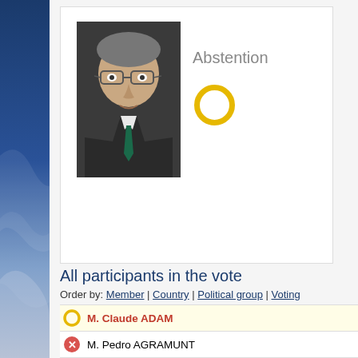[Figure (photo): Portrait photo of a man with glasses wearing a dark suit and green tie]
Abstention
[Figure (other): Yellow circle icon representing Abstention vote]
All participants in the vote
Order by: Member | Country | Political group | Voting
M. Claude ADAM — Abstention (highlighted)
M. Pedro AGRAMUNT — Against
M. Jean-Charles ALLAVENA — For
Ms Liv Holm ANDERSEN — For
Lord Donald ANDERSON — For